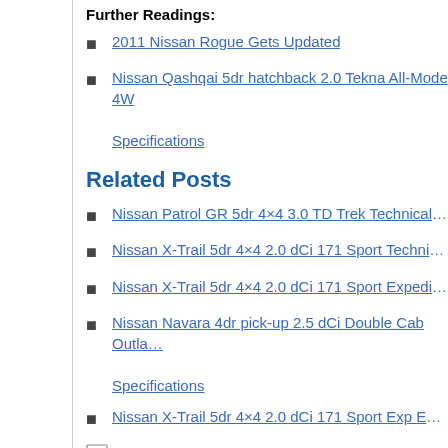Further Readings:
2011 Nissan Rogue Gets Updated
Nissan Qashqai 5dr hatchback 2.0 Tekna All-Mode 4W Specifications
Related Posts
Nissan Patrol GR 5dr 4×4 3.0 TD Trek Technical Spe...
Nissan X-Trail 5dr 4×4 2.0 dCi 171 Sport Technical Sp...
Nissan X-Trail 5dr 4×4 2.0 dCi 171 Sport Expedition T...
Nissan Navara 4dr pick-up 2.5 dCi Double Cab Outla... Specifications
Nissan X-Trail 5dr 4×4 2.0 dCi 171 Sport Exp Extr Te...
Category: Nissan, Technical Specifications